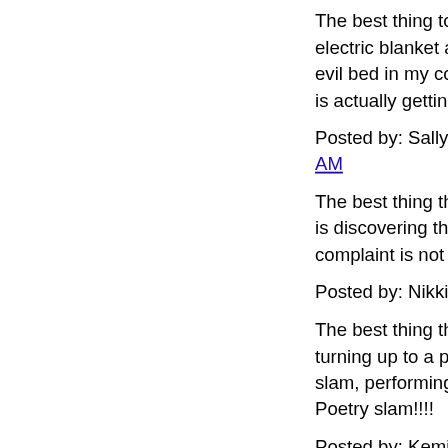The best thing to hap electric blanket and s evil bed in my cold, c is actually getting up
Posted by: Sally Ham AM
The best thing that ha is discovering that m complaint is not the c
Posted by: Nikki Hay
The best thing that ha turning up to a poetry slam, performing anc Poetry slam!!!!
Posted by: Kemi Taiv
The best thing this ye to our 'less tv, more m Quality time with the